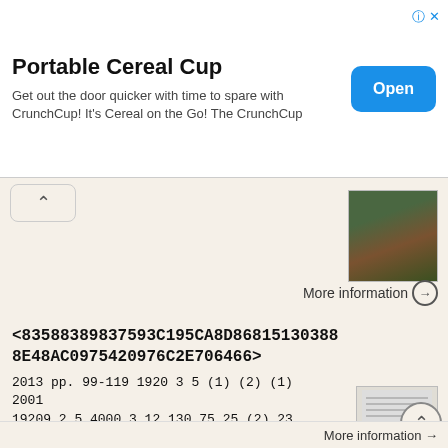[Figure (screenshot): Advertisement banner for Portable Cereal Cup (CrunchCup). Title: 'Portable Cereal Cup'. Subtitle: 'Get out the door quicker with time to spare with CrunchCup! It’s Cereal on the Go! The CrunchCup'. Blue 'Open' button on the right.]
[Figure (photo): Small thumbnail photo showing an outdoor scene with trees and a red building in the background.]
More information →
<83588389837593C195CA8D868151303888E48AC0975420976C2E706466>
2013 pp. 99-119 1920 3 5 (1) (2) (1) 2001 19209 2 5 4000 3 12 130 75 25 (2) 23 1975 2 17 2 3 1917 19221989 81995 62 84 (3) (4) (5) (6) (7) (8) (narrative) (9) (10) 45 1987 61 70 (4) 2011 (5) 1985 205 235
More information →